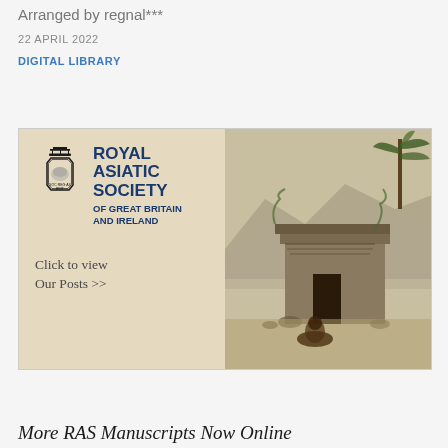Arranged by regnal***
22 APRIL 2022
DIGITAL LIBRARY
[Figure (illustration): Royal Asiatic Society of Great Britain and Ireland promotional image. Left side shows the RAS logo (crown above an octagonal seal with elephant illustration) and text 'ROYAL ASIATIC SOCIETY OF GREAT BRITAIN AND IRELAND' in blue, with 'Click to view Our Posts >>' below. Right side shows a vintage engraving of a stone temple or shrine with a palm tree and a seated figure in the foreground, rendered in sepia/dark tones against a mountainous background.]
More RAS Manuscripts Now Online